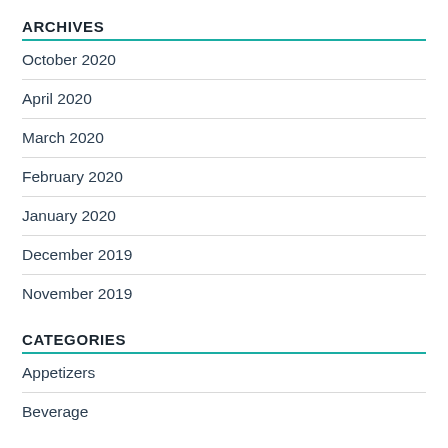ARCHIVES
October 2020
April 2020
March 2020
February 2020
January 2020
December 2019
November 2019
CATEGORIES
Appetizers
Beverage